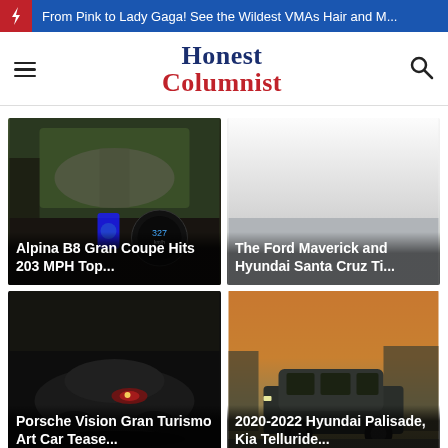From Pink to Lady Gaga! See the Wildest VMAs Hair and M...
Honest Columnist
[Figure (photo): Car interior dashboard view from driver perspective showing speedometer]
Alpina B8 Gran Coupe Hits 203 MPH Top...
[Figure (photo): Light colored background with Ford Maverick and Hyundai Santa Cruz trucks]
The Ford Maverick and Hyundai Santa Cruz Ti...
[Figure (photo): Dark teaser image of Porsche Vision Gran Turismo art car]
Porsche Vision Gran Turismo Art Car Tease...
[Figure (photo): Hyundai Palisade SUV photographed at sunset with orange sky]
2020-2022 Hyundai Palisade, Kia Telluride...